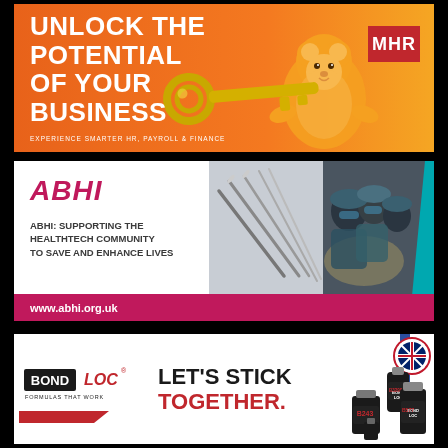[Figure (illustration): MHR advertisement banner with orange background, bear mascot holding a key, bold white text 'UNLOCK THE POTENTIAL OF YOUR BUSINESS', MHR logo in red box, subtext 'EXPERIENCE SMARTER HR, PAYROLL & FINANCE']
[Figure (illustration): ABHI advertisement banner with white background, pink ABHI logo, surgical instruments and surgeons images, bold text 'ABHI: SUPPORTING THE HEALTHTECH COMMUNITY TO SAVE AND ENHANCE LIVES', pink bottom bar with www.abhi.org.uk]
[Figure (illustration): BondLoc advertisement banner with white background, BondLoc logo, bold text 'LET'S STICK TOGETHER.' in black and red, product images B3298 B243 B577, UK flag badge]